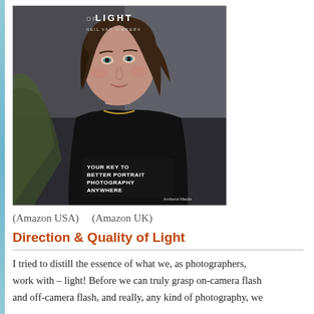[Figure (photo): Book cover of 'Direction & Quality of Light' by Neil van Niekerk. Shows a young woman with dark hair in a black top, with text overlay reading 'YOUR KEY TO BETTER PORTRAIT PHOTOGRAPHY ANYWHERE' and publisher name 'Amherst Media'.]
(Amazon USA)    (Amazon UK)
Direction & Quality of Light
I tried to distill the essence of what we, as photographers, work with – light! Before we can truly grasp on-camera flash and off-camera flash, and really, any kind of photography, we